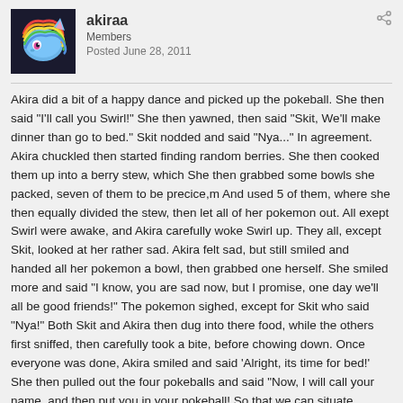akiraa
Members
Posted June 28, 2011
Akira did a bit of a happy dance and picked up the pokeball. She then said "I'll call you Swirl!" She then yawned, then said "Skit, We'll make dinner than go to bed." Skit nodded and said "Nya..." In agreement. Akira chuckled then started finding random berries. She then cooked them up into a berry stew, which She then grabbed some bowls she packed, seven of them to be precice,m And used 5 of them, where she then equally divided the stew, then let all of her pokemon out. All exept Swirl were awake, and Akira carefully woke Swirl up. They all, except Skit, looked at her rather sad. Akira felt sad, but still smiled and handed all her pokemon a bowl, then grabbed one herself. She smiled more and said "I know, you are sad now, but I promise, one day we'll all be good friends!" The pokemon sighed, except for Skit who said "Nya!" Both Skit and Akira then dug into there food, while the others first sniffed, then carefully took a bite, before chowing down. Once everyone was done, Akira smiled and said 'Alright, its time for bed!' She then pulled out the four pokeballs and said "Now, I will call your name, and then put you in your pokeball! So that we can situate names! First I'll tell you, my name is Akira Inoue." Akira smiled and said "I am happy you'll all be my friends and partners." She then Said 'Alright, Skit your first.' With a Nya from